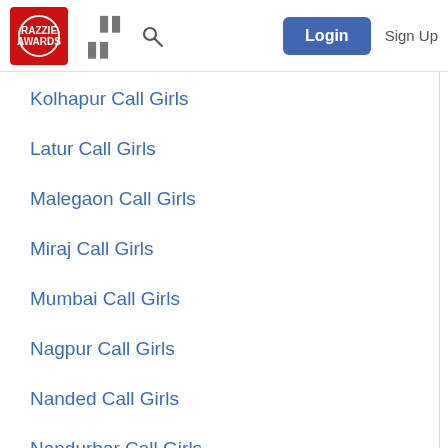RAZZIE Awards | Login | Sign Up
Kolhapur Call Girls
Latur Call Girls
Malegaon Call Girls
Miraj Call Girls
Mumbai Call Girls
Nagpur Call Girls
Nanded Call Girls
Nandurbar Call Girls